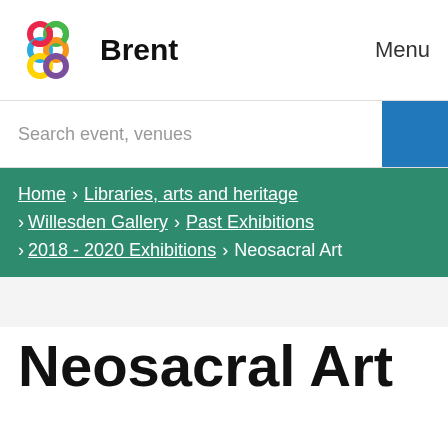Brent | Menu
Search event, venues
Home > Libraries, arts and heritage > Willesden Gallery > Past Exhibitions > 2018 - 2020 Exhibitions > Neosacral Art
Neosacral Art